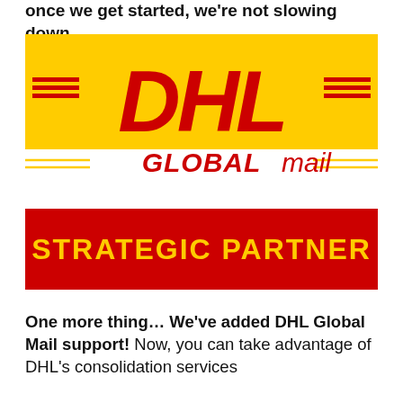once we get started, we're not slowing down.
[Figure (logo): DHL Global Mail logo. Yellow rectangular background with large red italic DHL text and red horizontal lines on sides. Below: 'GLOBALmail' in red italic text with yellow horizontal lines flanking it.]
STRATEGIC PARTNER
One more thing… We've added DHL Global Mail support! Now, you can take advantage of DHL's consolidation services